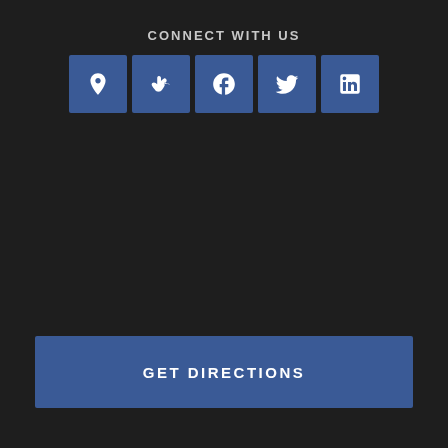CONNECT WITH US
[Figure (infographic): Five social media icon buttons: map pin/location, Yelp, Facebook, Twitter, LinkedIn — all in blue square tiles]
GET DIRECTIONS